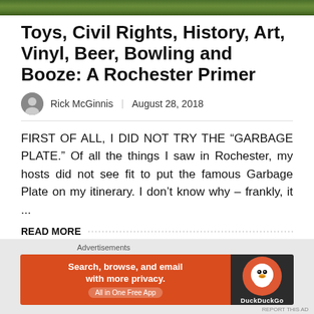[Figure (photo): Green grass/nature hero image strip at top of page]
Toys, Civil Rights, History, Art, Vinyl, Beer, Bowling and Booze: A Rochester Primer
Rick McGinnis  |  August 28, 2018
FIRST OF ALL, I DID NOT TRY THE “GARBAGE PLATE.” Of all the things I saw in Rochester, my hosts did not see fit to put the famous Garbage Plate on my itinerary. I don’t know why – frankly, it ...
READ MORE
[Figure (infographic): DuckDuckGo advertisement banner: Search, browse, and email with more privacy. All in One Free App. DuckDuckGo logo on dark background.]